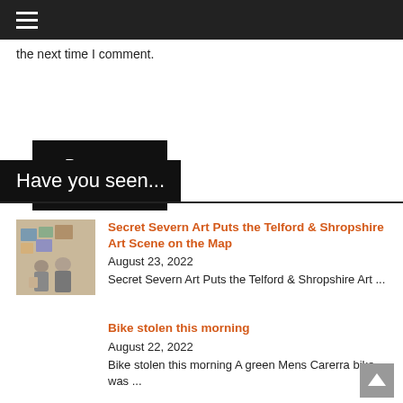≡
the next time I comment.
Post Comment
Have you seen...
[Figure (photo): Two people standing in front of artwork displayed on a wall]
Secret Severn Art Puts the Telford & Shropshire Art Scene on the Map
August 23, 2022
Secret Severn Art Puts the Telford & Shropshire Art ...
Bike stolen this morning
August 22, 2022
Bike stolen this morning A green Mens Carerra bike was ...